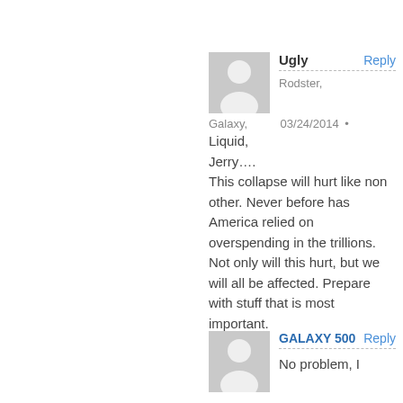[Figure (illustration): Generic user avatar placeholder icon (gray background with white person silhouette), first comment]
Ugly
Reply
03/24/2014 •
Rodster,
Galaxy, Liquid, Jerry....
This collapse will hurt like non other. Never before has America relied on overspending in the trillions. Not only will this hurt, but we will all be affected. Prepare with stuff that is most important.
[Figure (illustration): Generic user avatar placeholder icon (gray background with white person silhouette), second comment]
GALAXY 500
Reply
No problem, I